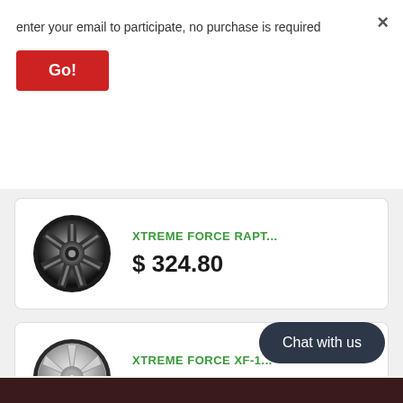enter your email to participate, no purchase is required
Go!
×
[Figure (photo): Chrome/black spoked wheel for XTREME FORCE RAPT...]
XTREME FORCE RAPT...
$ 324.80
[Figure (photo): Silver spoked wheel for XTREME FORCE XF-1...]
XTREME FORCE XF-1...
$ 374.88
Chat with us